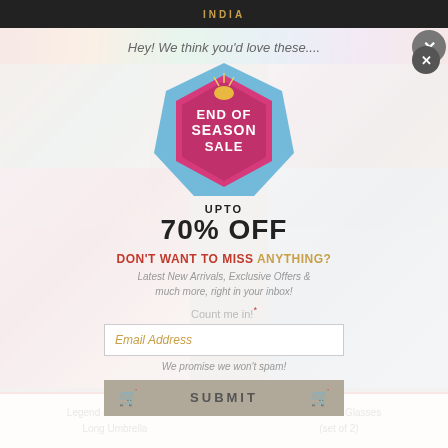INDIA
[Figure (screenshot): E-commerce website screenshot showing Indian home decor products including lamp shade, nesting tables, umbrella, and blue wine glasses in background]
[Figure (infographic): END OF SEASON SALE hexagonal badge in pink/magenta with pineapple icon, overlaid on blue geometric shape. Text: END OF SEASON SALE, UPTO 70% OFF]
Hey! We think you'd love these....
UPTO
70% OFF
DON'T WANT TO MISS ANYTHING?
Latest New Arrivals, Exclusive Offers & much more, right in your inbox!
Count me in!*
Email Address
We promise we won't spam!
SUBMIT
Legend of the Cranes
Long Umbrella
Blue Wine Glasses
(set of 2)